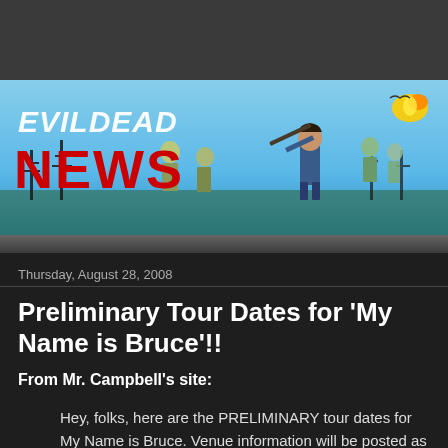[Figure (illustration): Evil Dead News banner with illustrated characters including Ash wielding a weapon and zombie figures on a blue sky background, with 'EVILDEAD NEWS' logo text]
Thursday, August 28, 2008
Preliminary Tour Dates for 'My Name is Bruce'!!
From Mr. Campbell's site:
Hey, folks, here are the PRELIMINARY tour dates for My Name is Bruce. Venue information will be posted as soon as we firm it all up. Barring union strikes, hurricanes, flat tires or Diptheria, I will be personally appearing at each